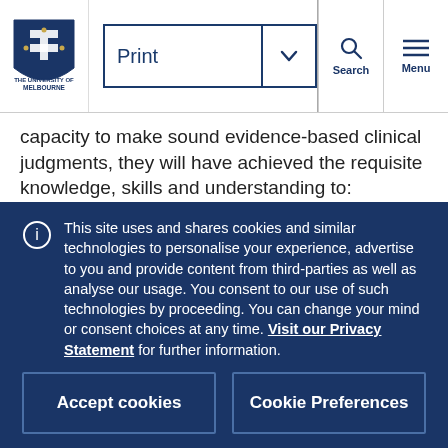Print | Search | Menu
capacity to make sound evidence-based clinical judgments, they will have achieved the requisite knowledge, skills and understanding to:
Foreground Indigenous Worldviews to promote learner engagement that is inclusive and respectful of Aboriginal and Torres Strait
This site uses and shares cookies and similar technologies to personalise your experience, advertise to you and provide content from third-parties as well as analyse our usage. You consent to our use of such technologies by proceeding. You can change your mind or consent choices at any time. Visit our Privacy Statement for further information.
Accept cookies
Cookie Preferences